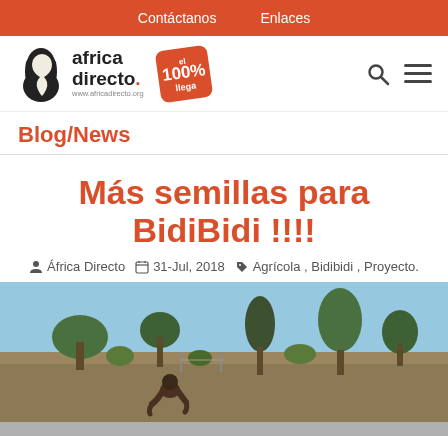Contáctanos   Enlaces
[Figure (logo): Africa Directo logo with silhouette face, text 'africa directo.' and '100% llega' badge, plus search and hamburger menu icons]
Blog/News
Más semillas para BidiBidi !!!!
África Directo   31-Jul, 2018   Agrícola , Bidibidi , Proyecto.
[Figure (photo): Outdoor photo showing a person bending over in an agricultural field with sparse trees and bushes in background and blue sky]